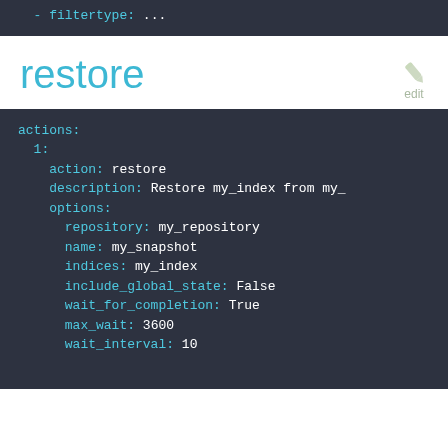[Figure (screenshot): Code block showing top portion with '- filtertype: ...' in cyan/white monospace on dark background]
restore
[Figure (screenshot): YAML code block showing restore action configuration with actions, action: restore, description, options including repository: my_repository, name: my_snapshot, indices: my_index, include_global_state: False, wait_for_completion: True, max_wait: 3600, wait_interval: 10]